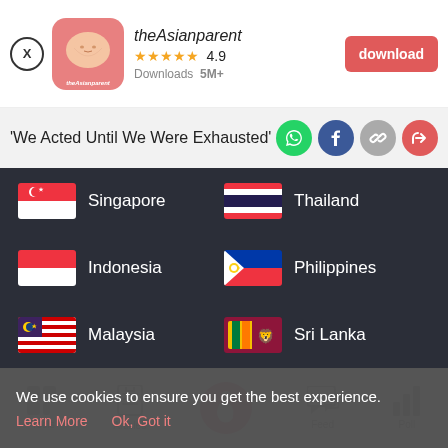[Figure (screenshot): theAsianparent app advertisement banner with app icon, rating 4.9 stars, 5M+ downloads, and download button]
'We Acted Until We Were Exhausted'
[Figure (infographic): Country selector with 6 countries: Singapore, Thailand, Indonesia, Philippines, Malaysia, Sri Lanka on dark background with flag icons]
[Figure (screenshot): App bottom navigation bar with Tools, Articles, Home (pregnancy icon), Feed, Poll]
We use cookies to ensure you get the best experience.
Learn More   Ok, Got it